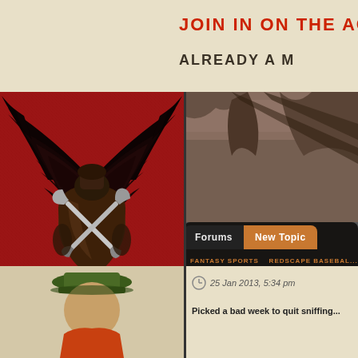JOIN IN ON THE ACTION "REG...
ALREADY A M...
[Figure (illustration): Red background emblem with dark wings spread wide, a shield with crossed pickaxes, and decorative claws at the bottom. Dark gothic fantasy game logo.]
It is currently 22 Aug 2022, 11:06 pm
[Figure (photo): Rocky canyon or cave environment photo, warm earth tones, partially obscured by forum overlay.]
Forums   New Topic
FANTASY SPORTS   REDSCAPE BASEBALL
2013 DISCUSSION
Posted on by SLOTerp
[Figure (illustration): Partial view of a character or avatar illustration with a green hat, bottom portion visible.]
25 Jan 2013, 5:34 pm
Picked a bad week to quit sniffing...